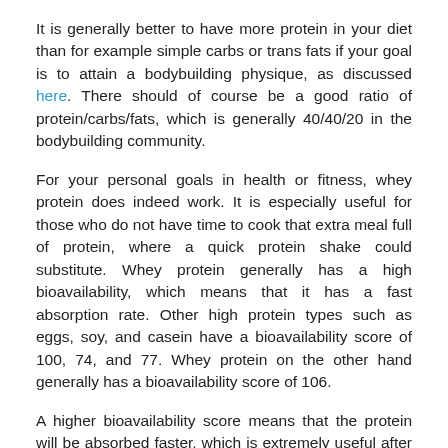It is generally better to have more protein in your diet than for example simple carbs or trans fats if your goal is to attain a bodybuilding physique, as discussed here. There should of course be a good ratio of protein/carbs/fats, which is generally 40/40/20 in the bodybuilding community.
For your personal goals in health or fitness, whey protein does indeed work. It is especially useful for those who do not have time to cook that extra meal full of protein, where a quick protein shake could substitute. Whey protein generally has a high bioavailability, which means that it has a fast absorption rate. Other high protein types such as eggs, soy, and casein have a bioavailability score of 100, 74, and 77. Whey protein on the other hand generally has a bioavailability score of 106.
A higher bioavailability score means that the protein will be absorbed faster, which is extremely useful after a workout. This is because after a workout, your body is craving protein, carbohydrates, and other nutrients in order to repair your muscles. The faster you get in your post-workout protein, the faster your body can start the muscle rebuilding process. It's not only beneficial for those trying